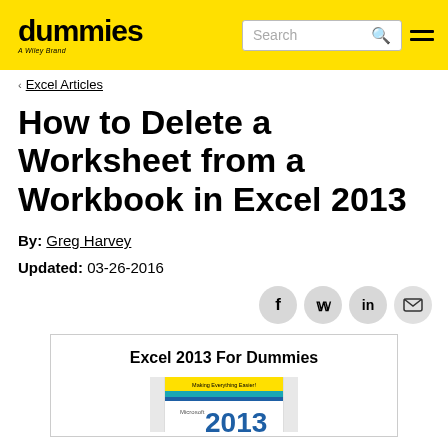dummies – A Wiley Brand
< Excel Articles
How to Delete a Worksheet from a Workbook in Excel 2013
By: Greg Harvey
Updated: 03-26-2016
[Figure (illustration): Social sharing buttons for Facebook, Twitter, LinkedIn, and Email]
[Figure (photo): Book promo box with title 'Excel 2013 For Dummies' and partial book cover image showing yellow/teal/blue stripes with 'Making Everything Easier!' tagline and 'Microsoft' and '2013' text visible]